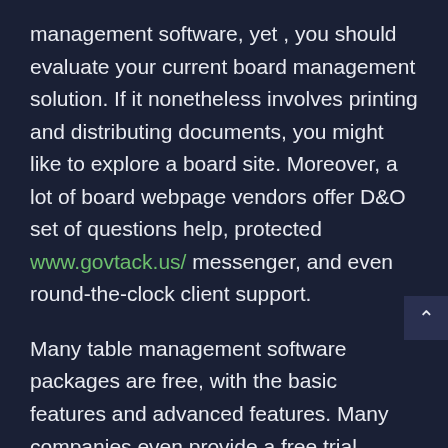management software, yet , you should evaluate your current board management solution. If it nonetheless involves printing and distributing documents, you might like to explore a board site. Moreover, a lot of board webpage vendors offer D&O set of questions help, protected www.govtack.us/ messenger, and even round-the-clock client support.
Many table management software packages are free, with the basic features and advanced features. Many companies even provide a free trial period. Most board management software systems cost between $1, 500 and $12, 000 12 months, but rates varies greatly depending on number of users and